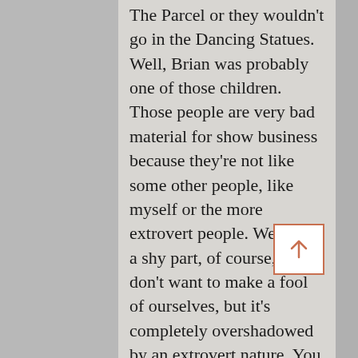The Parcel or they wouldn't go in the Dancing Statues. Well, Brian was probably one of those children. Those people are very bad material for show business because they're not like some other people, like myself or the more extrovert people. We have a shy part, of course, and don't want to make a fool of ourselves, but it's completely overshadowed by an extrovert nature. You take the knocks and you can deal with it. And you're still out there doing it. But Brian wasn't really like that, and there are a lot of other people like that, and try and handle it by drinking, or being rude, and they suffer. They're basically in the wrong business. They have to alter their personalities to be what
[Figure (other): A scroll-up button with an upward arrow icon, outlined in terracotta/orange-red color on a white background.]